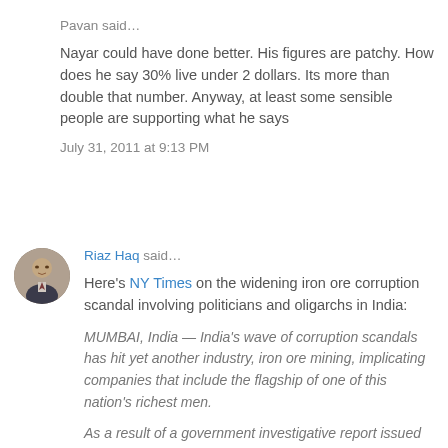Pavan said…
Nayar could have done better. His figures are patchy. How does he say 30% live under 2 dollars. Its more than double that number. Anyway, at least some sensible people are supporting what he says
July 31, 2011 at 9:13 PM
Riaz Haq said…
Here's NY Times on the widening iron ore corruption scandal involving politicians and oligarchs in India:
MUMBAI, India — India's wave of corruption scandals has hit yet another industry, iron ore mining, implicating companies that include the flagship of one of this nation's richest men.
As a result of a government investigative report issued late last week, several stocks have lost value — including shares of Adani Enterprises